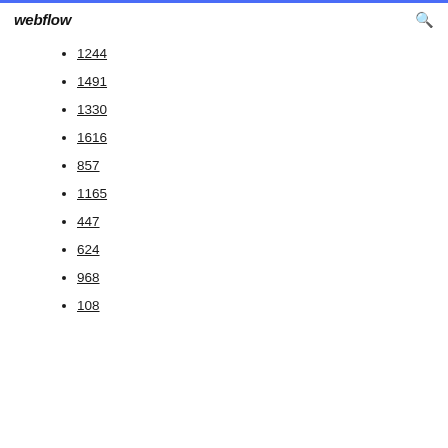webflow
1244
1491
1330
1616
857
1165
447
624
968
108